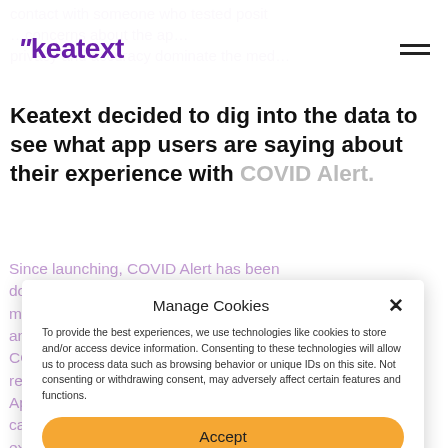"Keatext
contact with someone who tested posit… concerns about the ap… privacy and accuracy dominate the med…
Keatext decided to dig into the data to see what app users are saying about their experience with COVID Alert.
Since launching, COVID Alert has been downloaded more than 6.0 million times with more than 1.0 million active users. Using analytics technology, Keatext's team analyzed COVID Alert's publicly available unsolicited reviews from the Google Play Store and Apple's App Store, where customers offer their opinions candidly in their own words, usually with the expectation that their feedback will be heard. User data could very well be the key to more people downloading the app and using it – we already know that the more people who use the
Manage Cookies
To provide the best experiences, we use technologies like cookies to store and/or access device information. Consenting to these technologies will allow us to process data such as browsing behavior or unique IDs on this site. Not consenting or withdrawing consent, may adversely affect certain features and functions.
Accept
Deny
View preferences
Privacy Policy